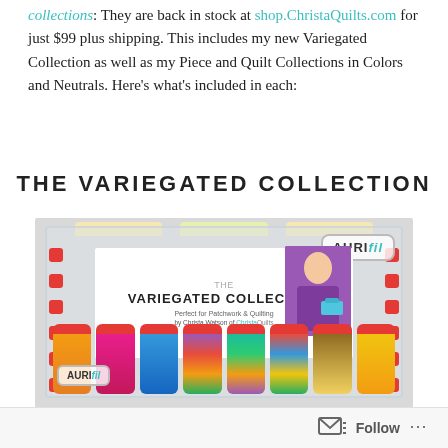collections: They are back in stock at shop.ChristaQuilts.com for just $99 plus shipping. This includes my new Variegated Collection as well as my Piece and Quilt Collections in Colors and Neutrals. Here's what's included in each:
THE VARIEGATED COLLECTION
[Figure (photo): Photo of Aurifil Variegated Collection thread box by Christa Watson of ChristaQuilts, showing colorful thread spools in a clear plastic box with product label and Aurifil branding.]
Follow